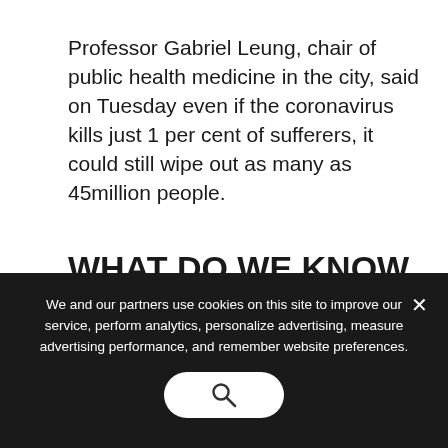Professor Gabriel Leung, chair of public health medicine in the city, said on Tuesday even if the coronavirus kills just 1 per cent of sufferers, it could still wipe out as many as 45million people.
WHAT DO WE KNOW ABOUT THE DEADLY CORONAVIRUS IN CHINA?
Someone who is infected with the coronavirus can spread it with just a
We and our partners use cookies on this site to improve our service, perform analytics, personalize advertising, measure advertising performance, and remember website preferences.